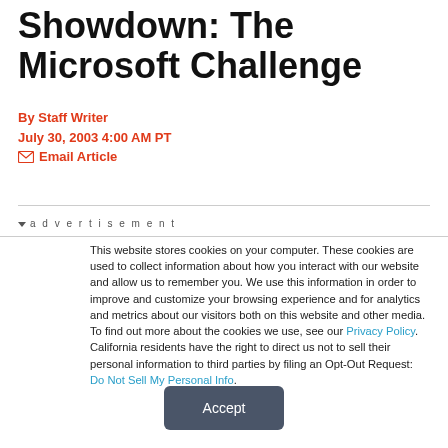Showdown: The Microsoft Challenge
By Staff Writer
July 30, 2003 4:00 AM PT
✉ Email Article
advertisement
This website stores cookies on your computer. These cookies are used to collect information about how you interact with our website and allow us to remember you. We use this information in order to improve and customize your browsing experience and for analytics and metrics about our visitors both on this website and other media. To find out more about the cookies we use, see our Privacy Policy. California residents have the right to direct us not to sell their personal information to third parties by filing an Opt-Out Request: Do Not Sell My Personal Info.
Accept